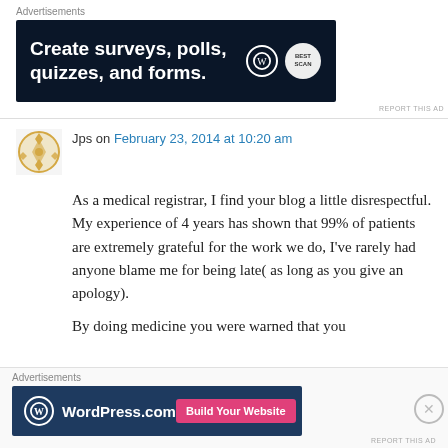Advertisements
[Figure (screenshot): Dark blue advertisement banner: 'Create surveys, polls, quizzes, and forms.' with WordPress and Best Scan logos]
REPORT THIS AD
Jps on February 23, 2014 at 10:20 am
As a medical registrar, I find your blog a little disrespectful. My experience of 4 years has shown that 99% of patients are extremely grateful for the work we do, I've rarely had anyone blame me for being late( as long as you give an apology).
By doing medicine you were warned that you
Advertisements
[Figure (screenshot): WordPress.com advertisement banner with 'Build Your Website' pink button]
REPORT THIS AD